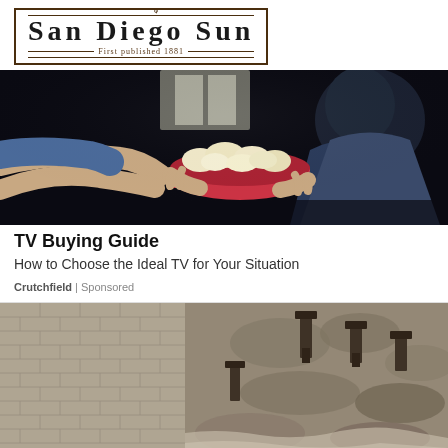San Diego Sun — First published 1881
[Figure (photo): Two people relaxing in a dark room, one holding a red bowl of popcorn, watching TV]
TV Buying Guide
How to Choose the Ideal TV for Your Situation
Crutchfield | Sponsored
[Figure (photo): Construction site showing a deep excavation trench with brick wall on the left and rocky terrain on the right, with machinery visible]